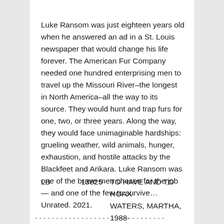Luke Ransom was just eighteen years old when he answered an ad in a St. Louis newspaper that would change his life forever. The American Fur Company needed one hundred enterprising men to travel up the Missouri River–the longest in North America–all the way to its source. They would hunt and trap furs for one, two, or three years. Along the way, they would face unimaginable hardships: grueling weather, wild animals, hunger, exhaustion, and hostile attacks by the Blackfeet and Arikara. Luke Ransom was one of the brave men chosen for the job — and one of the few to survive… Unrated. 2021.
LB    13825    TO HAVE AND TO HOAX    WATERS, MARTHA, 1988-